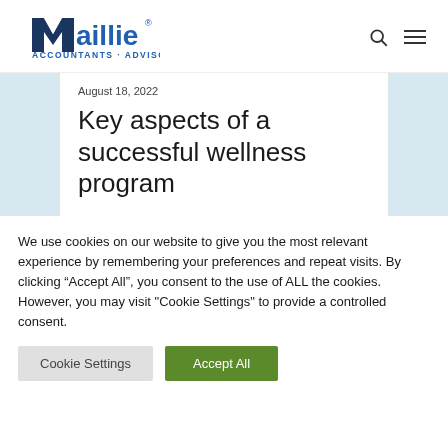[Figure (logo): Maillie Accountants Advisors logo with dark blue M and blue text]
August 18, 2022
Key aspects of a successful wellness program
We use cookies on our website to give you the most relevant experience by remembering your preferences and repeat visits. By clicking “Accept All”, you consent to the use of ALL the cookies. However, you may visit "Cookie Settings" to provide a controlled consent.
Cookie Settings
Accept All